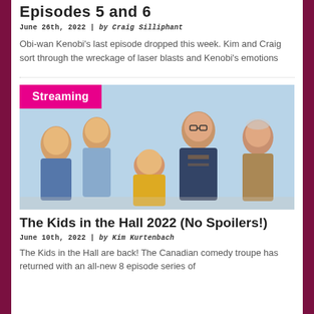Episodes 5 and 6
June 26th, 2022 | by Craig Silliphant
Obi-wan Kenobi’s last episode dropped this week. Kim and Craig sort through the wreckage of laser blasts and Kenobi’s emotions
[Figure (photo): Group photo of five people against a light blue background with a pink 'Streaming' badge overlay. The group appears to be cast members, dressed in various jackets and casual attire.]
The Kids in the Hall 2022 (No Spoilers!)
June 10th, 2022 | by Kim Kurtenbach
The Kids in the Hall are back! The Canadian comedy troupe has returned with an all-new 8 episode series of